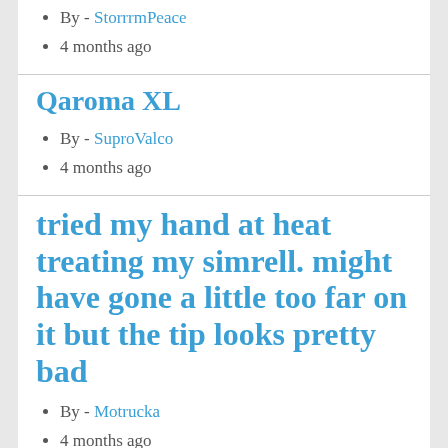By - StorrrmPeace
4 months ago
Qaroma XL
By - SuproValco
4 months ago
tried my hand at heat treating my simrell. might have gone a little too far on it but the tip looks pretty bad
By - Motrucka
4 months ago
I'm fucked guys I've tried everything in regards to my